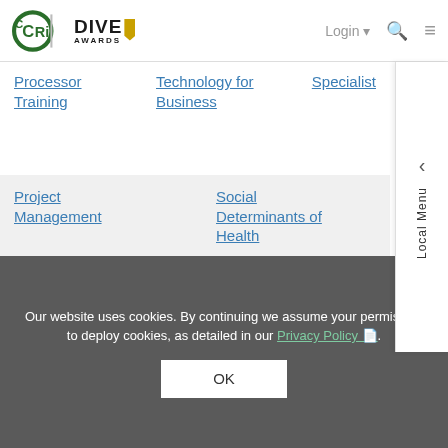CCRI | DIVE AWARDS — Login, Search, Menu
Processor Training
Technology for Business
Specialist
Project Management
Social Determinants of Health
Technical Writing
Excel for Business, Intermediate and Advanced
Our website uses cookies. By continuing we assume your permission to deploy cookies, as detailed in our Privacy Policy.